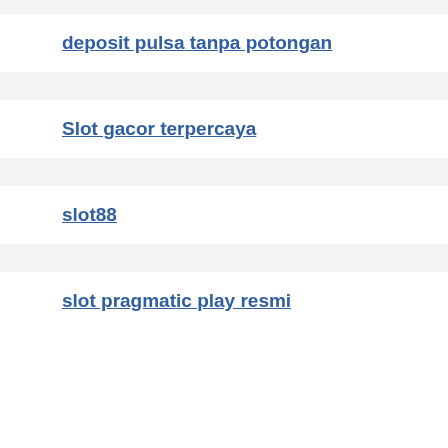deposit pulsa tanpa potongan
Slot gacor terpercaya
slot88
slot pragmatic play resmi